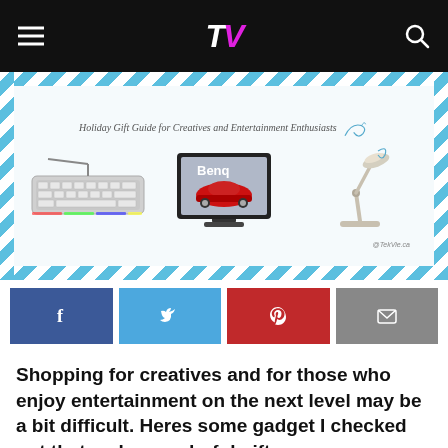TV (logo) navigation bar
[Figure (illustration): Holiday Gift Guide for Creatives and Entertainment Enthusiasts banner image showing RGB gaming keyboard, BenQ monitor with red car on screen, and a modern desk lamp, surrounded by blue diagonal stripe border]
[Figure (infographic): Social share buttons row: Facebook (blue), Twitter (light blue), Pinterest (red), Email (grey)]
Shopping for creatives and for those who enjoy entertainment on the next level may be a bit difficult. Heres some gadget I checked out that make wonderful gifts.